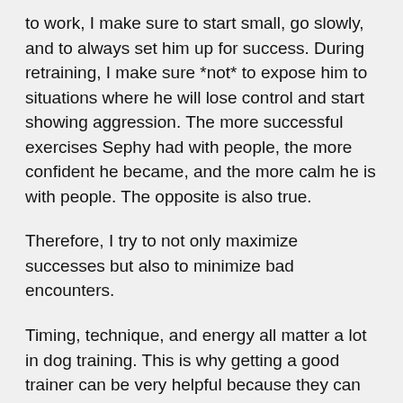to work, I make sure to start small, go slowly, and to always set him up for success. During retraining, I make sure *not* to expose him to situations where he will lose control and start showing aggression. The more successful exercises Sephy had with people, the more confident he became, and the more calm he is with people. The opposite is also true.
Therefore, I try to not only maximize successes but also to minimize bad encounters.
Timing, technique, and energy all matter a lot in dog training. This is why getting a good trainer can be very helpful because they can be right there to help us with these things. I consulted with several trainers during my difficult period with Sephy.
However, it can often be a challenge to find a good